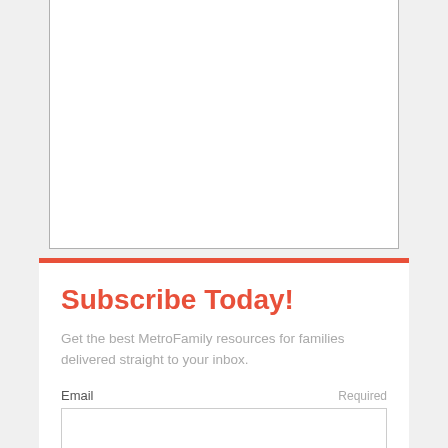[Figure (other): White rectangle area with left and right gray borders and bottom border — appears to be the bottom portion of a content panel or article block, mostly empty white space.]
Subscribe Today!
Get the best MetroFamily resources for families delivered straight to your inbox.
Email  Required